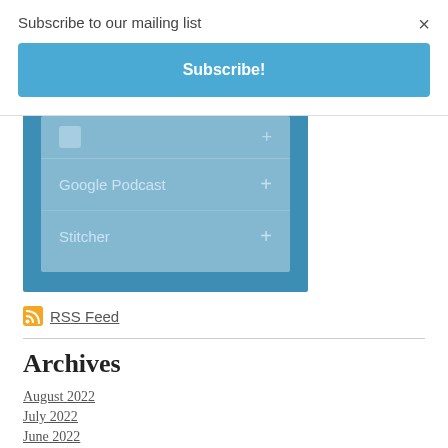Subscribe to our mailing list
×
Subscribe!
[Figure (screenshot): Blue podcast subscription widget showing Google Podcast and Stitcher options with plus icons]
RSS Feed
Archives
August 2022
July 2022
June 2022